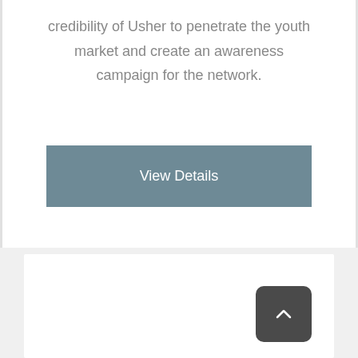credibility of Usher to penetrate the youth market and create an awareness campaign for the network.
View Details